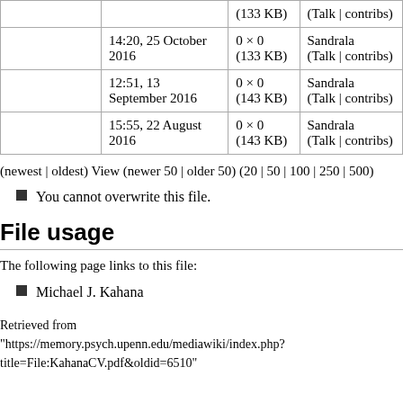| (thumb) | Date/Time | Dimensions | User |
| --- | --- | --- | --- |
|  | (133 KB) | (Talk | contribs) |
|  | 14:20, 25 October 2016 | 0 × 0
(133 KB) | Sandrala
(Talk | contribs) |
|  | 12:51, 13 September 2016 | 0 × 0
(143 KB) | Sandrala
(Talk | contribs) |
|  | 15:55, 22 August 2016 | 0 × 0
(143 KB) | Sandrala
(Talk | contribs) |
(newest | oldest) View (newer 50 | older 50) (20 | 50 | 100 | 250 | 500)
You cannot overwrite this file.
File usage
The following page links to this file:
Michael J. Kahana
Retrieved from "https://memory.psych.upenn.edu/mediawiki/index.php?title=File:KahanaCV.pdf&oldid=6510"